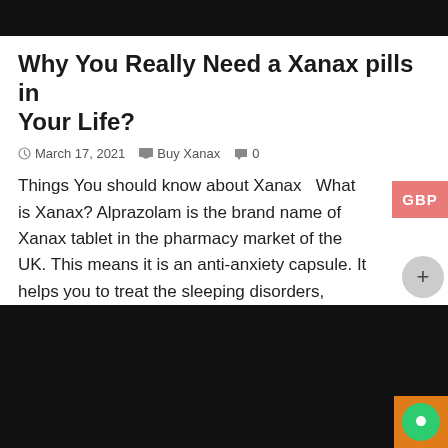Why You Really Need a Xanax pills in Your Life?
March 17, 2021   Buy Xanax   0
Things You should know about Xanax   What is Xanax? Alprazolam is the brand name of Xanax tablet in the pharmacy market of the UK. This means it is an anti-anxiety capsule. It helps you to treat the sleeping disorders, anxiety, depression, and insomnia problems very effectively. Improperness in sleep …
Read More »
[Figure (screenshot): Black image block at the bottom of the page representing a screenshot or image placeholder]